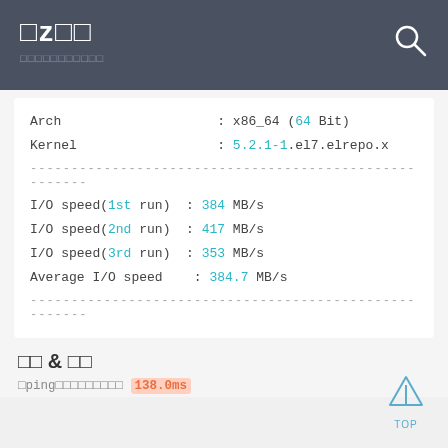□z□□  □□□□□□□□□□□
Arch : x86_64 (64 Bit)
Kernel : 5.2.1-1.el7.elrepo.x
I/O speed(1st run)  : 384 MB/s
I/O speed(2nd run)  : 417 MB/s
I/O speed(3rd run)  : 353 MB/s
Average I/O speed   : 384.7 MB/s
□□ & □□
□ping□□□□□□□□□ 138.0ms